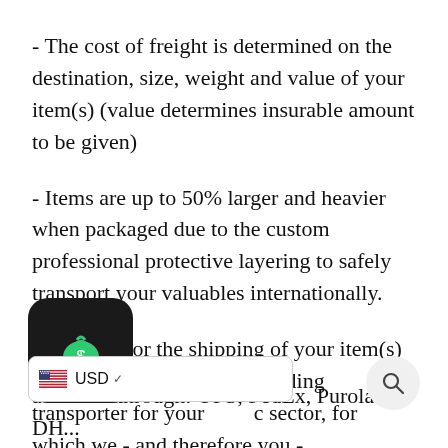- The cost of freight is determined on the destination, size, weight and value of your item(s) (value determines insurable amount to be given)
- Items are up to 50% larger and heavier when packaged due to the custom professional protective layering to safely transport your valuables internationally.
- The cost for the shipping of your item(s) is determined by the leading transporter for your specific sector, for which we - and therefore you - receive the lowest volume discounts available through: UPS, FedEx, Purolator, DHL...